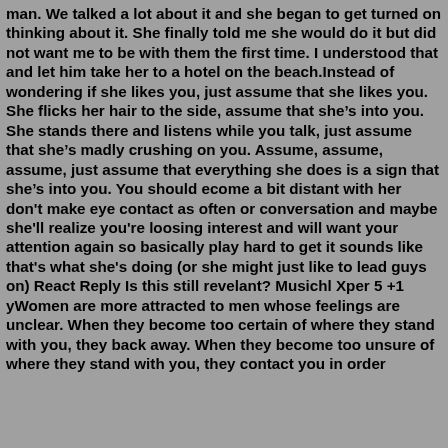man. We talked a lot about it and she began to get turned on thinking about it. She finally told me she would do it but did not want me to be with them the first time. I understood that and let him take her to a hotel on the beach.Instead of wondering if she likes you, just assume that she likes you. She flicks her hair to the side, assume that she’s into you. She stands there and listens while you talk, just assume that she’s madly crushing on you. Assume, assume, assume, just assume that everything she does is a sign that she’s into you. You should ecome a bit distant with her don't make eye contact as often or conversation and maybe she'll realize you're loosing interest and will want your attention again so basically play hard to get it sounds like that's what she's doing (or she might just like to lead guys on) React Reply Is this still revelant? Musichl Xper 5 +1 yWomen are more attracted to men whose feelings are unclear. When they become too certain of where they stand with you, they back away. When they become too unsure of where they stand with you, they contact you in order